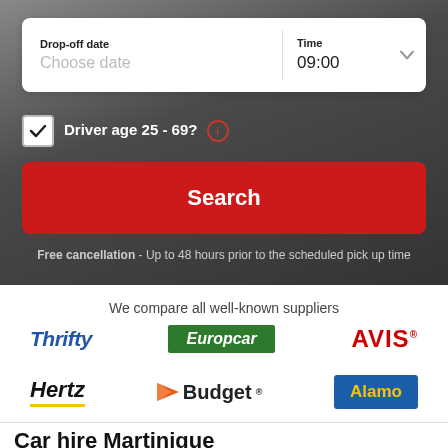Drop-off date
Choose date
Time
09:00
Driver age 25 - 69? ⓘ
Search
Free cancellation - Up to 48 hours prior to the scheduled pick up time
We compare all well-known suppliers
[Figure (logo): Thrifty car rental logo in blue italic bold text]
[Figure (logo): Europcar logo in white italic bold text on green background]
[Figure (logo): AVIS logo in red bold text]
[Figure (logo): Hertz logo in black bold italic text with yellow underline]
[Figure (logo): Budget logo with orange arrow and bold text]
[Figure (logo): Alamo logo in yellow text on blue background]
Car hire Martinique